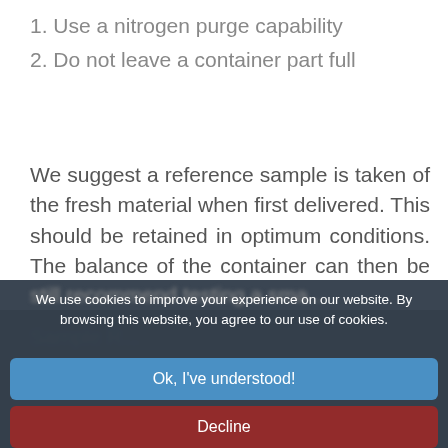1. Use a nitrogen purge capability
2. Do not leave a container part full
We suggest a reference sample is taken of the fresh material when first delivered. This should be retained in optimum conditions. The balance of the container can then be compared, at points in the future, to the reference sample for signs of degradation of odour or colour change. If there is not significant difference in colour and odour then the material is okay to use.  We
We use cookies to improve your experience on our website. By browsing this website, you agree to our use of cookies.
Ok, I've understood!
Decline
More Info